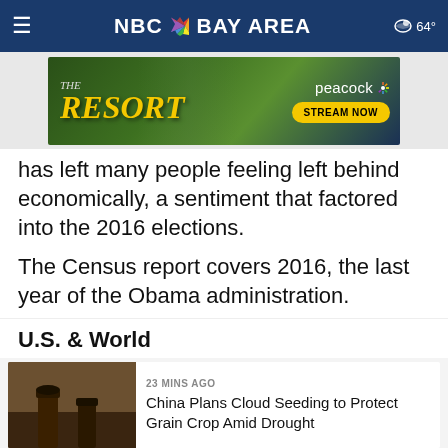NBC Bay Area — 64°
[Figure (illustration): Advertisement banner for 'The Resort' on Peacock — Stream Now]
has left many people feeling left behind economically, a sentiment that factored into the 2016 elections.
The Census report covers 2016, the last year of the Obama administration.
U.S. & World
[Figure (photo): Photo of feet/boots walking on a dirt path, related to China drought article]
23 MINS AGO
China Plans Cloud Seeding to Protect Grain Crop Amid Drought
[Figure (photo): Photo of a woman speaking at a press conference with microphones, related to Finland article]
2 HOURS AGO
Finland Debates: Does a Prime Minister Have a Right to Party?